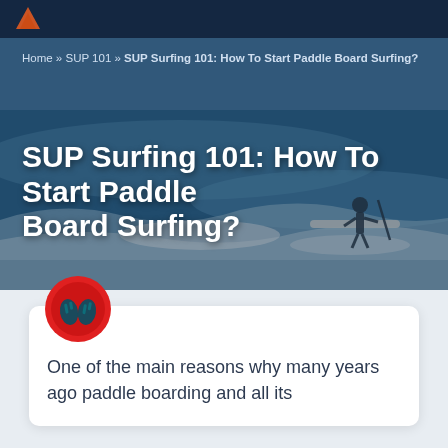[Figure (photo): Hero banner image showing a surfer on a stand-up paddleboard riding a wave at the beach, with ocean waves and other surfers visible in the background. Dark blue/navy overlay tint on the image.]
Home » SUP 101 » SUP Surfing 101: How To Start Paddle Board Surfing?
SUP Surfing 101: How To Start Paddle Board Surfing?
[Figure (illustration): Red circle icon with two teal/dark flip flop sandals emoji inside]
One of the main reasons why many years ago paddle boarding and all its